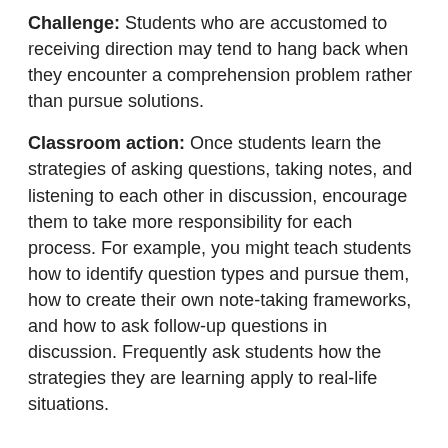Challenge: Students who are accustomed to receiving direction may tend to hang back when they encounter a comprehension problem rather than pursue solutions.
Classroom action: Once students learn the strategies of asking questions, taking notes, and listening to each other in discussion, encourage them to take more responsibility for each process. For example, you might teach students how to identify question types and pursue them, how to create their own note-taking frameworks, and how to ask follow-up questions in discussion. Frequently ask students how the strategies they are learning apply to real-life situations.